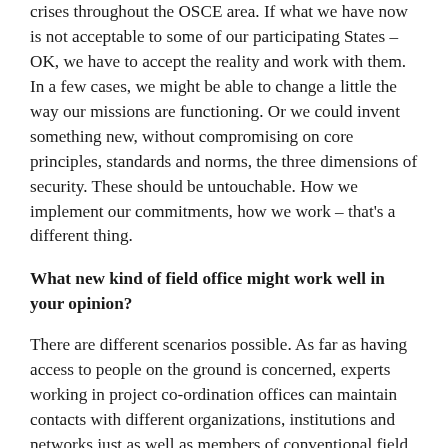crises throughout the OSCE area. If what we have now is not acceptable to some of our participating States – OK, we have to accept the reality and work with them. In a few cases, we might be able to change a little the way our missions are functioning. Or we could invent something new, without compromising on core principles, standards and norms, the three dimensions of security. These should be untouchable. How we implement our commitments, how we work – that's a different thing.
What new kind of field office might work well in your opinion?
There are different scenarios possible. As far as having access to people on the ground is concerned, experts working in project co-ordination offices can maintain contacts with different organizations, institutions and networks just as well as members of conventional field missions can. The difference is political reporting. This reporting function would have to be somehow developed. It could be conducted through the